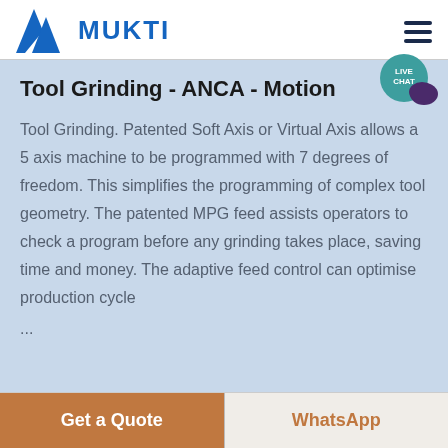MUKTI
Tool Grinding - ANCA - Motion
Tool Grinding. Patented Soft Axis or Virtual Axis allows a 5 axis machine to be programmed with 7 degrees of freedom. This simplifies the programming of complex tool geometry. The patented MPG feed assists operators to check a program before any grinding takes place, saving time and money. The adaptive feed control can optimise production cycle ...